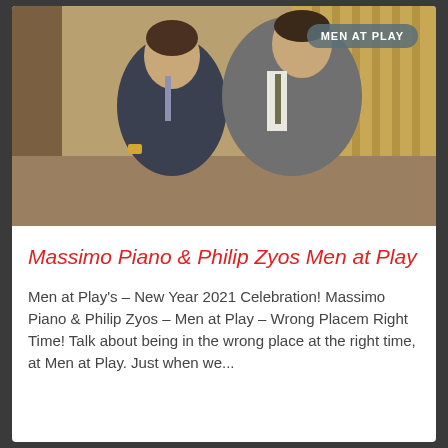[Figure (photo): Two men in suits in an intimate scene. A badge reading 'MEN AT PLAY' appears in the upper right corner of the image.]
Massimo Piano & Philip Zyos Men at Play
Men at Play's – New Year 2021 Celebration! Massimo Piano & Philip Zyos – Men at Play – Wrong Placem Right Time! Talk about being in the wrong place at the right time, at Men at Play. Just when we...